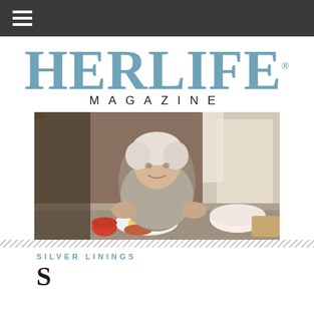HERLIFE MAGAZINE
[Figure (photo): Elderly woman sitting at a table with food — potatoes, meat, and a bowl of salad — smiling at the camera. Background shows lace curtains and a window.]
SILVER LININGS
S